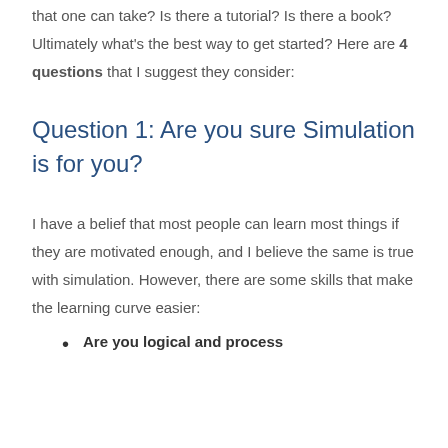that one can take? Is there a tutorial? Is there a book? Ultimately what's the best way to get started? Here are 4 questions that I suggest they consider:
Question 1: Are you sure Simulation is for you?
I have a belief that most people can learn most things if they are motivated enough, and I believe the same is true with simulation. However, there are some skills that make the learning curve easier:
Are you logical and process